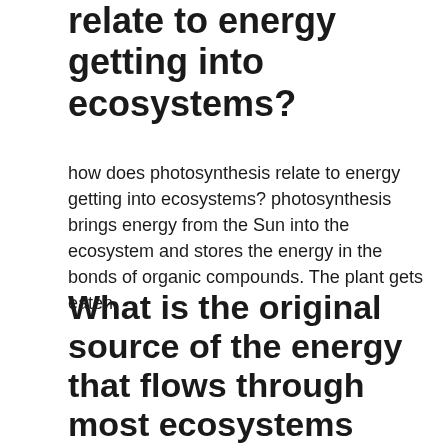relate to energy getting into ecosystems?
how does photosynthesis relate to energy getting into ecosystems? photosynthesis brings energy from the Sun into the ecosystem and stores the energy in the bonds of organic compounds. The plant gets eaten.
What is the original source of the energy that flows through most ecosystems what would happen without this source?